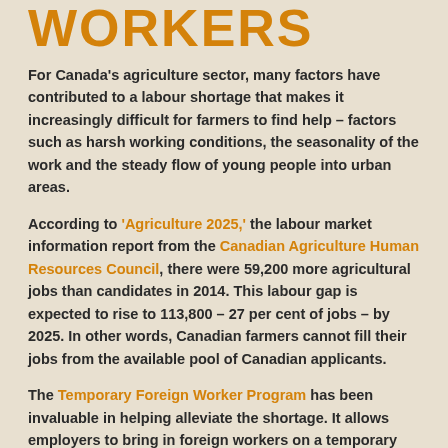WORKERS
For Canada’s agriculture sector, many factors have contributed to a labour shortage that makes it increasingly difficult for farmers to find help – factors such as harsh working conditions, the seasonality of the work and the steady flow of young people into urban areas.
According to ‘Agriculture 2025,’ the labour market information report from the Canadian Agriculture Human Resources Council, there were 59,200 more agricultural jobs than candidates in 2014. This labour gap is expected to rise to 113,800 – 27 per cent of jobs – by 2025. In other words, Canadian farmers cannot fill their jobs from the available pool of Canadian applicants.
The Temporary Foreign Worker Program has been invaluable in helping alleviate the shortage. It allows employers to bring in foreign workers on a temporary basis to fill jobs that can’t